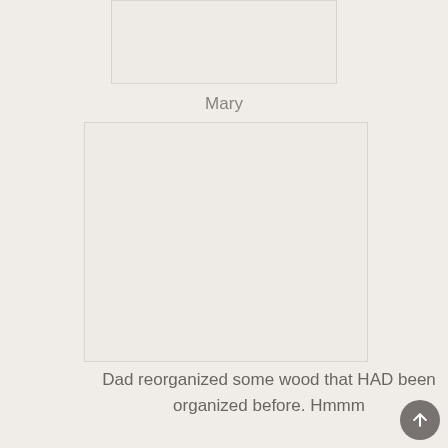[Figure (photo): A photo placeholder at the top, partially visible, light beige/white rectangle with border]
Mary
[Figure (photo): A large photo placeholder, light beige/white rectangle with border]
Dad reorganized some wood that HAD been organized before. Hmmm